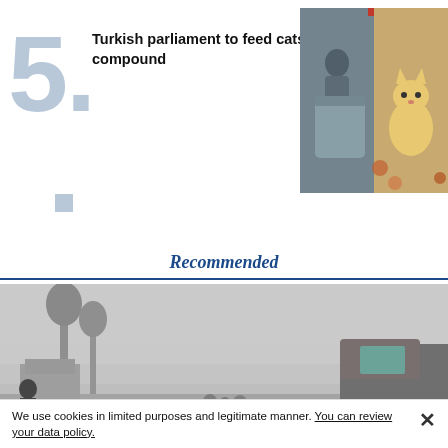5. Turkish parliament to feed cats in compound
[Figure (photo): Person looking into a container, and a cat in autumn leaves]
Recommended
[Figure (photo): Misty foggy scene with people and a vehicle, possibly a conflict or disaster zone]
We use cookies in limited purposes and legitimate manner. You can review your data policy.